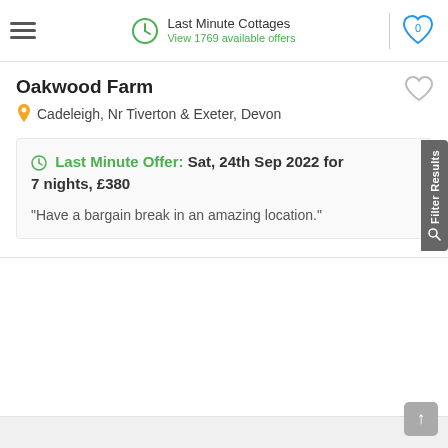Last Minute Cottages — View 1769 available offers
Oakwood Farm
Cadeleigh, Nr Tiverton & Exeter, Devon
Last Minute Offer: Sat, 24th Sep 2022 for 7 nights, £380
"Have a bargain break in an amazing location."